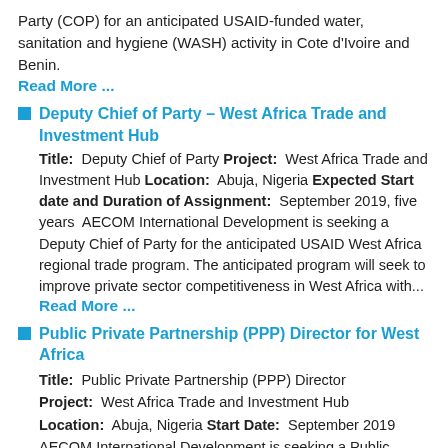Party (COP) for an anticipated USAID-funded water, sanitation and hygiene (WASH) activity in Cote d'Ivoire and Benin.
Read More ...
Deputy Chief of Party – West Africa Trade and Investment Hub
Title: Deputy Chief of Party Project: West Africa Trade and Investment Hub Location: Abuja, Nigeria Expected Start date and Duration of Assignment: September 2019, five years AECOM International Development is seeking a Deputy Chief of Party for the anticipated USAID West Africa regional trade program. The anticipated program will seek to improve private sector competitiveness in West Africa with...
Read More ...
Public Private Partnership (PPP) Director for West Africa
Title: Public Private Partnership (PPP) Director
Project: West Africa Trade and Investment Hub
Location: Abuja, Nigeria Start Date: September 2019
AECOM International Development is seeking a Public